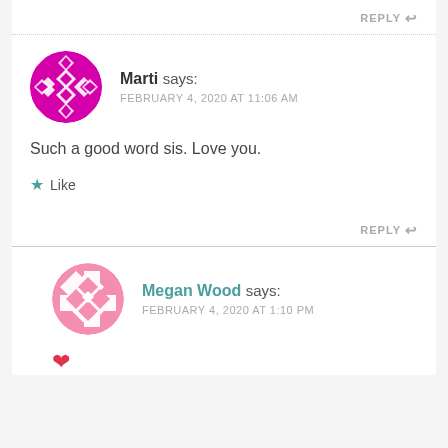REPLY ↩
Marti says:
FEBRUARY 4, 2020 AT 11:06 AM
Such a good word sis. Love you.
★ Like
REPLY ↩
Megan Wood says:
FEBRUARY 4, 2020 AT 1:10 PM